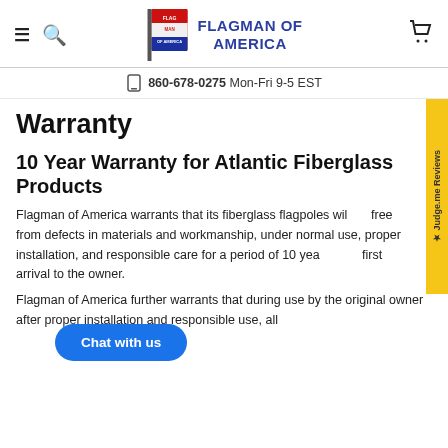Flagman of America — header with hamburger menu, search, logo, and cart icon
860-678-0275  Mon-Fri 9-5 EST
Warranty
10 Year Warranty for Atlantic Fiberglass Products
Flagman of America warrants that its fiberglass flagpoles will be free from defects in materials and workmanship, under normal use, proper installation, and responsible care for a period of 10 years from first arrival to the owner.
Flagman of America further warrants that during use by the original owner after proper installation and responsible use, all